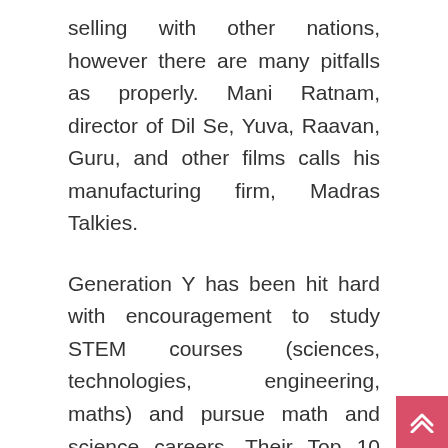selling with other nations, however there are many pitfalls as properly. Mani Ratnam, director of Dil Se, Yuva, Raavan, Guru, and other films calls his manufacturing firm, Madras Talkies.
Generation Y has been hit hard with encouragement to study STEM courses (sciences, technologies, engineering, maths) and pursue math and science careers. Their Top 10 Highest Demand Jobs (see beneath) are largely in Engineering. They could also be finding out for levels that they cannot use. Although the Aerospace Industry is growing, a proliferation of related new jobs will not occur till round 2014-2015 or later. What will all these engineers do until then?